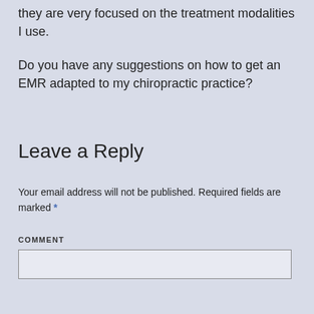they are very focused on the treatment modalities I use.
Do you have any suggestions on how to get an EMR adapted to my chiropractic practice?
Leave a Reply
Your email address will not be published. Required fields are marked *
COMMENT